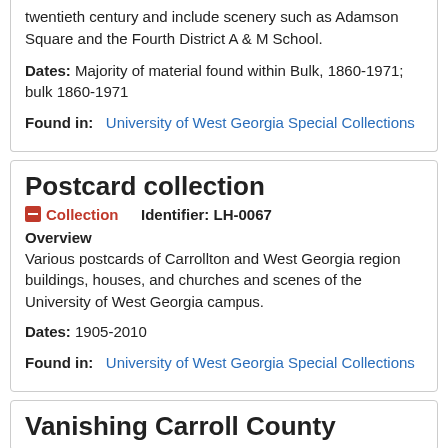twentieth century and include scenery such as Adamson Square and the Fourth District A & M School.
Dates: Majority of material found within Bulk, 1860-1971; bulk 1860-1971
Found in: University of West Georgia Special Collections
Postcard collection
Collection   Identifier: LH-0067
Overview
Various postcards of Carrollton and West Georgia region buildings, houses, and churches and scenes of the University of West Georgia campus.
Dates: 1905-2010
Found in: University of West Georgia Special Collections
Vanishing Carroll County